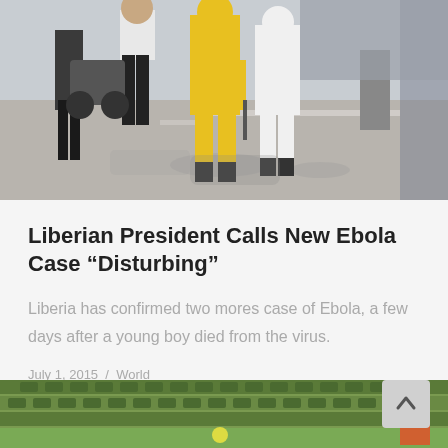[Figure (photo): Street scene showing people walking, one person in a yellow hazmat/protective suit with equipment, on a sunny street]
Liberian President Calls New Ebola Case “Disturbing”
Liberia has confirmed two mores case of Ebola, a few days after a young boy died from the virus.
July 1, 2015 / World
[Figure (photo): Partial view of stadium seating (green seats) with people visible at bottom of frame]